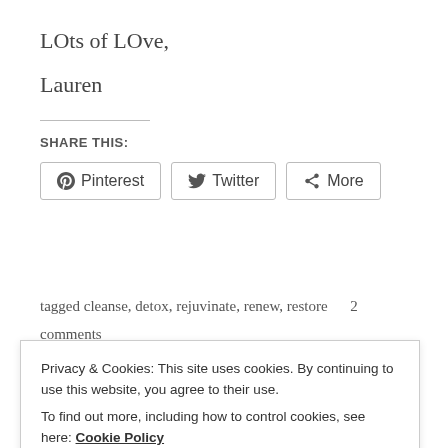LOts of LOve,
Lauren
SHARE THIS:
[Figure (other): Social share buttons: Pinterest, Twitter, More]
tagged cleanse, detox, rejuvinate, renew, restore   2
comments
Privacy & Cookies: This site uses cookies. By continuing to use this website, you agree to their use.
To find out more, including how to control cookies, see here: Cookie Policy
Close and accept
Feeling Stuck